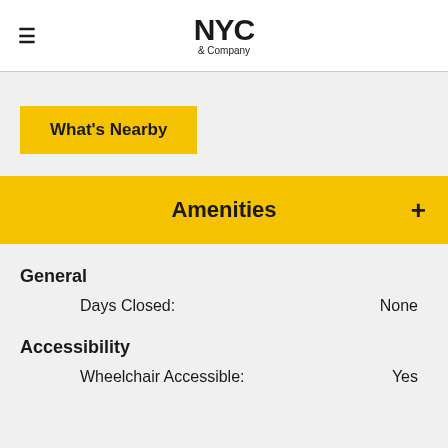NYC & Company
What's Nearby
Amenities +
General
Days Closed: None
Accessibility
Wheelchair Accessible: Yes